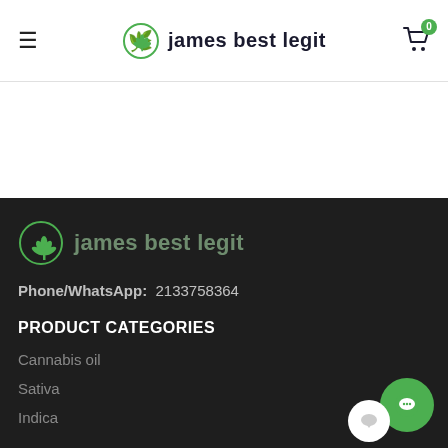james best legit — navigation header with hamburger menu, logo, and cart (0 items)
[Figure (logo): james best legit logo with cannabis leaf icon in circle, shown in header]
[Figure (logo): james best legit logo with cannabis leaf icon in circle, shown in footer]
Phone/WhatsApp: 2133758364
PRODUCT CATEGORIES
Cannabis oil
Sativa
Indica